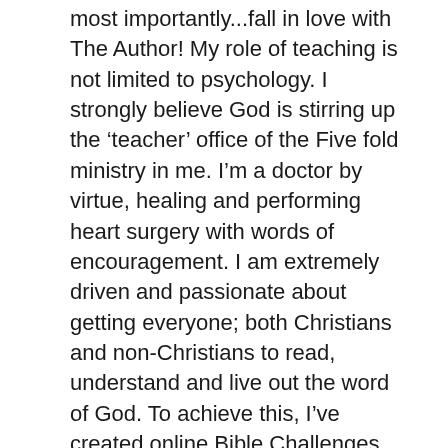most importantly...fall in love with The Author! My role of teaching is not limited to psychology. I strongly believe God is stirring up the 'teacher' office of the Five fold ministry in me. I'm a doctor by virtue, healing and performing heart surgery with words of encouragement. I am extremely driven and passionate about getting everyone; both Christians and non-Christians to read, understand and live out the word of God. To achieve this, I've created online Bible Challenges, whereby people around the world via social media, read a book in the Bible, one chapter a day and share what they have drawn out from the text. I have numerous Bible challenges, all accessible from my